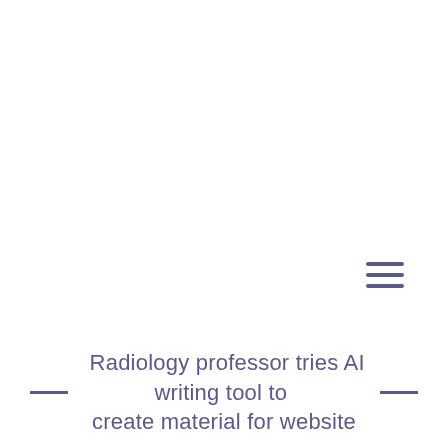[Figure (other): Hamburger/menu icon with three horizontal lines in muted blue-purple color, positioned in the upper right area of the page]
Radiology professor tries AI writing tool to create material for website